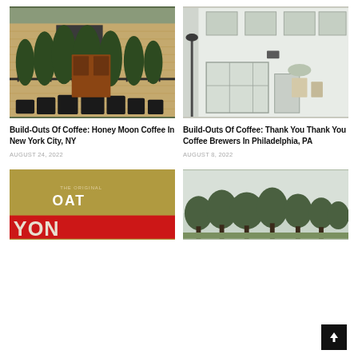[Figure (photo): Exterior of a coffee shop with brick wall, iron fence, and potted bamboo plants in front of a wooden door]
Build-Outs Of Coffee: Honey Moon Coffee In New York City, NY
AUGUST 24, 2022
[Figure (photo): Exterior of a minimalist white storefront coffee shop with large windows and a street lamp]
Build-Outs Of Coffee: Thank You Thank You Coffee Brewers In Philadelphia, PA
AUGUST 8, 2022
[Figure (photo): Gold background with red and white graphic text reading THE ORIGINAL OAT and bold red letters below]
[Figure (photo): Outdoor photo with trees against a light sky]